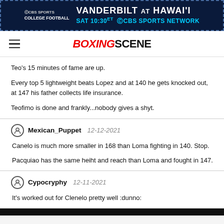[Figure (screenshot): CBS Sports College Football ad banner: Vanderbilt at Hawai'i, Sat 10:30 ET, CBS Sports Network]
BOXINGSCENE
Teo's 15 minutes of fame are up.

Every top 5 lightweight beats Lopez and at 140 he gets knocked out, at 147 his father collects life insurance.

Teofimo is done and frankly...nobody gives a shyt.
Mexican_Puppet 12-12-2021

Canelo is much more smaller in 168 than Loma fighting in 140. Stop.

Pacquiao has the same heiht and reach than Loma and fought in 147.
Cypocryphy 12-11-2021

It's worked out for Clenelo pretty well :dunno: